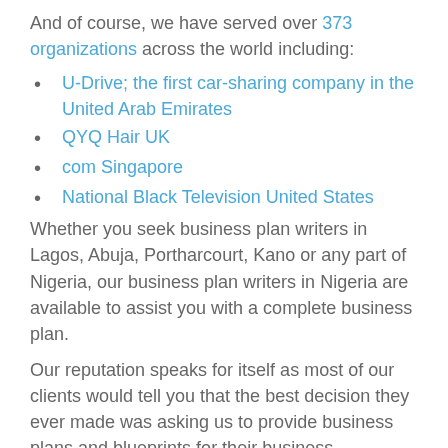And of course, we have served over 373 organizations across the world including:
U-Drive; the first car-sharing company in the United Arab Emirates
QYQ Hair UK
com Singapore
National Black Television United States
Whether you seek business plan writers in Lagos, Abuja, Portharcourt, Kano or any part of Nigeria, our business plan writers in Nigeria are available to assist you with a complete business plan.
Our reputation speaks for itself as most of our clients would tell you that the best decision they ever made was asking us to provide business plans and blueprints for their business.
It's your turn now; you too can have a most remarkable and profitable business. Contact us today (08099713813)